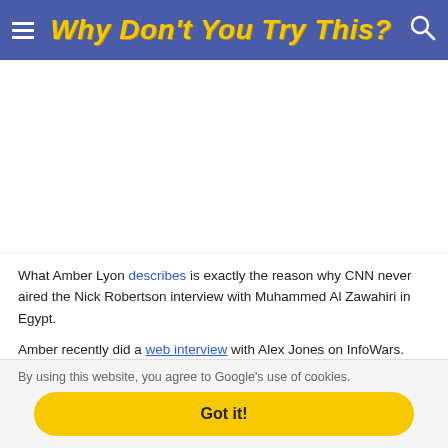Why Don't You Try This?
[Figure (other): Advertisement / blank white space area]
What Amber Lyon describes is exactly the reason why CNN never aired the Nick Robertson interview with Muhammed Al Zawahiri in Egypt.
Amber recently did a web interview with Alex Jones on InfoWars. Generally
By using this website, you agree to Google's use of cookies.
Got it!